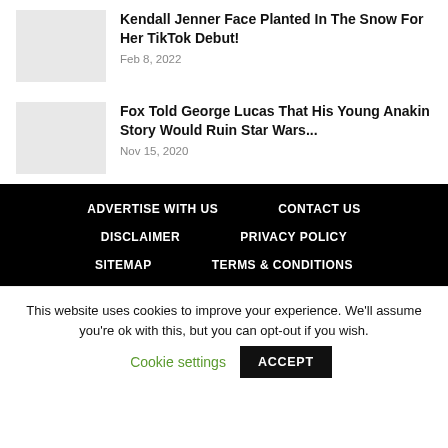Kendall Jenner Face Planted In The Snow For Her TikTok Debut!
Feb 8, 2022
Fox Told George Lucas That His Young Anakin Story Would Ruin Star Wars...
Nov 15, 2020
ADVERTISE WITH US | CONTACT US | DISCLAIMER | PRIVACY POLICY | SITEMAP | TERMS & CONDITIONS
This website uses cookies to improve your experience. We'll assume you're ok with this, but you can opt-out if you wish. Cookie settings ACCEPT